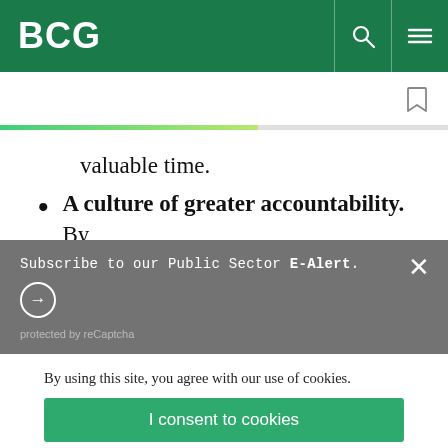BCG
valuable time.
A culture of greater accountability. By
Subscribe to our Public Sector E-Alert.
protected by reCaptcha
By using this site, you agree with our use of cookies.
I consent to cookies
Want to know more?
Read our Cookie Policy